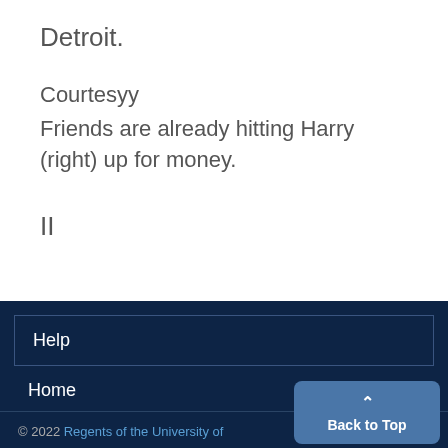Detroit.
Courtesyy
Friends are already hitting Harry (right) up for money.
II
Help
Home
© 2022 Regents of the University of
Back to Top